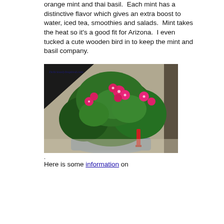orange mint and thai basil.  Each mint has a distinctive flavor which gives an extra boost to water, iced tea, smoothies and salads.  Mint takes the heat so it's a good fit for Arizona.  I even tucked a cute wooden bird in to keep the mint and basil company.
[Figure (photo): A potted plant with bright pink flowers and green leaves, with a watermark reading 'DeliciouslyInspired.com', photographed outdoors on a patio or sidewalk setting.]
.
Here is some information on